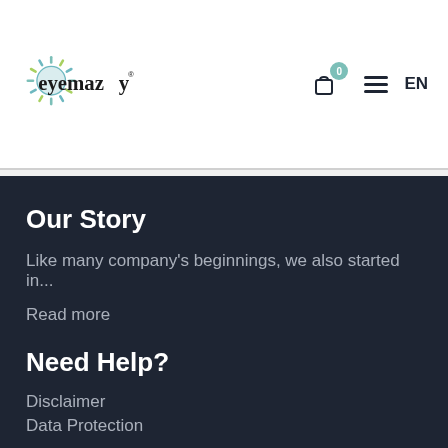[Figure (logo): Eyemazy logo with colorful sunburst icon and stylized text 'eyemazy' with registered trademark symbol]
Our Story
Like many company's beginnings, we also started in...
Read more
Need Help?
Disclaimer
Data Protection